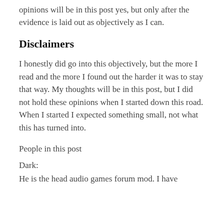opinions will be in this post yes, but only after the evidence is laid out as objectively as I can.
Disclaimers
I honestly did go into this objectively, but the more I read and the more I found out the harder it was to stay that way. My thoughts will be in this post, but I did not hold these opinions when I started down this road. When I started I expected something small, not what this has turned into.
People in this post
Dark:
He is the head audio games forum mod. I have